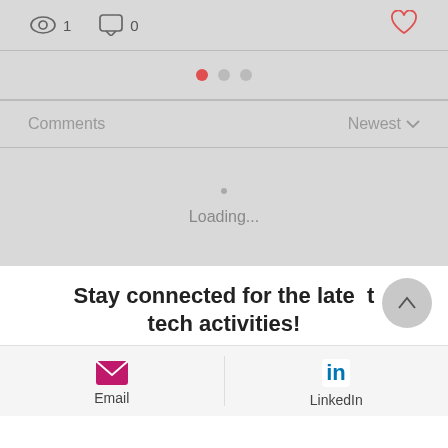[Figure (screenshot): UI stats row with eye icon showing 1 view, speech bubble icon showing 0 comments, and a heart icon]
[Figure (screenshot): Carousel pagination dots: one red active dot and two grey dots]
Comments
Newest
Loading...
Stay connected for the latest tech activities!
[Figure (screenshot): Email and LinkedIn social share icons with labels]